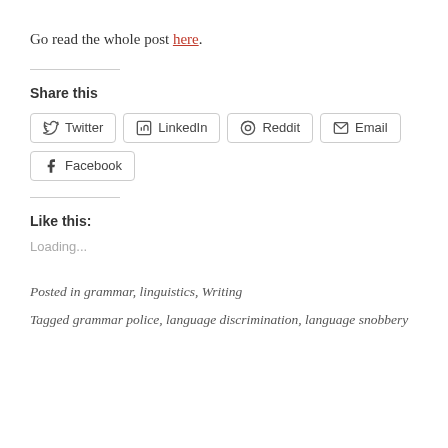Go read the whole post here.
Share this
Twitter LinkedIn Reddit Email Facebook (share buttons)
Like this:
Loading...
Posted in grammar, linguistics, Writing
Tagged grammar police, language discrimination, language snobbery